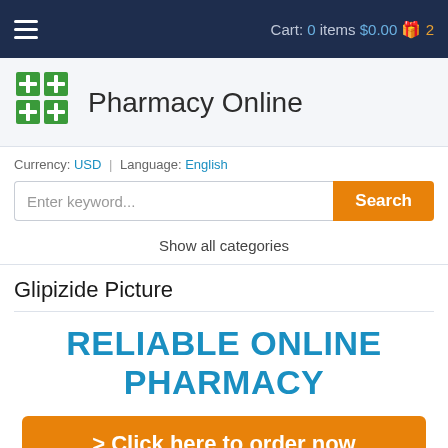Cart: 0 items $0.00 2
[Figure (logo): Green pharmacy cross logo with four plus-sign blocks]
Pharmacy Online
Currency: USD | Language: English
Enter keyword... Search
Show all categories
Glipizide Picture
RELIABLE ONLINE PHARMACY
> Click here to order now